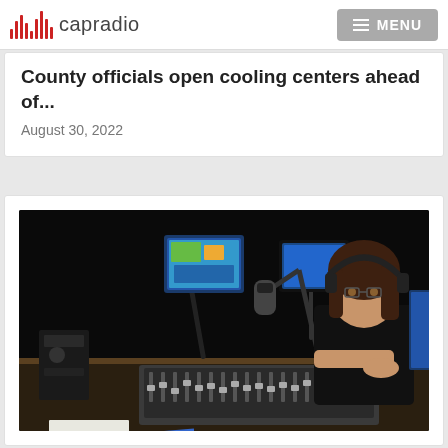capradio  MENU
County officials open cooling centers ahead of...
August 30, 2022
[Figure (photo): A woman wearing headphones sits at a radio broadcast console in a dark studio, operating a mixing board with microphone arms and computer monitors in view.]